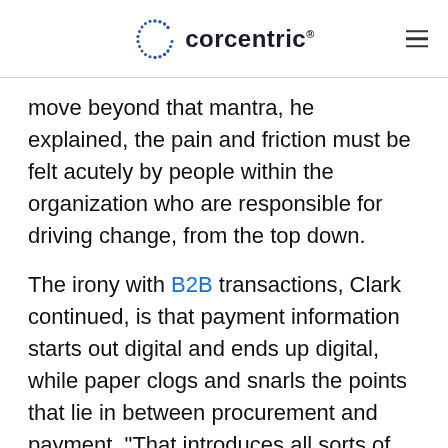corcentric
move beyond that mantra, he explained, the pain and friction must be felt acutely by people within the organization who are responsible for driving change, from the top down.
The irony with B2B transactions, Clark continued, is that payment information starts out digital and ends up digital, while paper clogs and snarls the points that lie in between procurement and payment. “That introduces all sorts of